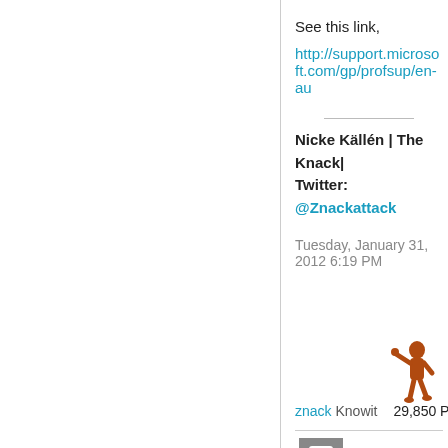See this link,
http://support.microsoft.com/gp/profsup/en-au
Nicke Källén | The Knack|
Twitter: @Znackattack
Tuesday, January 31, 2012 6:19 PM
znack Knowit   29,850 Points
[Figure (illustration): Small cartoon figure of a person holding something, brownish-red color, used as user avatar]
[Figure (illustration): Gray square icon with a speech bubble/comment symbol inside]
[Figure (illustration): Gray upward-pointing triangle/arrow]